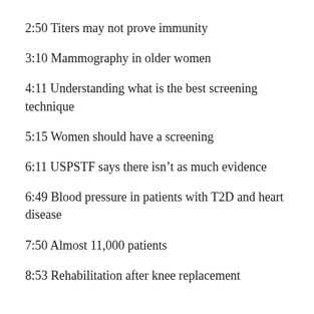2:50 Titers may not prove immunity
3:10 Mammography in older women
4:11 Understanding what is the best screening technique
5:15 Women should have a screening
6:11 USPSTF says there isn't as much evidence
6:49 Blood pressure in patients with T2D and heart disease
7:50 Almost 11,000 patients
8:53 Rehabilitation after knee replacement